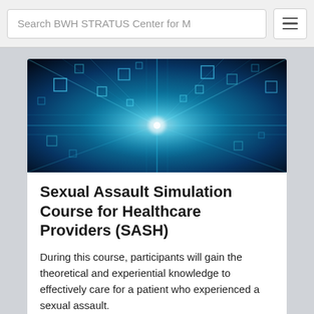Search BWH STRATUS Center for M
[Figure (photo): Abstract blue digital technology background with glowing light beams and floating geometric squares on a dark background]
Sexual Assault Simulation Course for Healthcare Providers (SASH)
During this course, participants will gain the theoretical and experiential knowledge to effectively care for a patient who experienced a sexual assault.